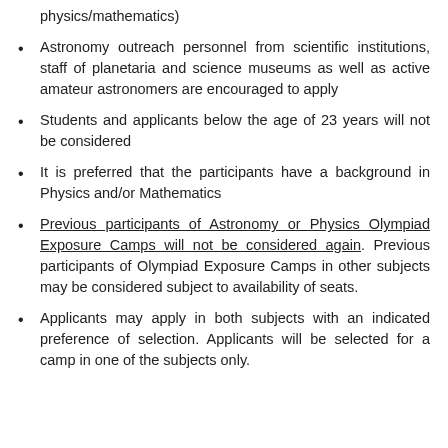physics/mathematics)
Astronomy outreach personnel from scientific institutions, staff of planetaria and science museums as well as active amateur astronomers are encouraged to apply
Students and applicants below the age of 23 years will not be considered
It is preferred that the participants have a background in Physics and/or Mathematics
Previous participants of Astronomy or Physics Olympiad Exposure Camps will not be considered again. Previous participants of Olympiad Exposure Camps in other subjects may be considered subject to availability of seats.
Applicants may apply in both subjects with an indicated preference of selection. Applicants will be selected for a camp in one of the subjects only.